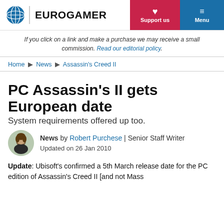EUROGAMER | Support us | Menu
If you click on a link and make a purchase we may receive a small commission. Read our editorial policy.
Home ▶ News ▶ Assassin's Creed II
PC Assassin's II gets European date
System requirements offered up too.
News by Robert Purchese | Senior Staff Writer
Updated on 26 Jan 2010
Update: Ubisoft's confirmed a 5th March release date for the PC edition of Assassin's Creed II [and not Mass